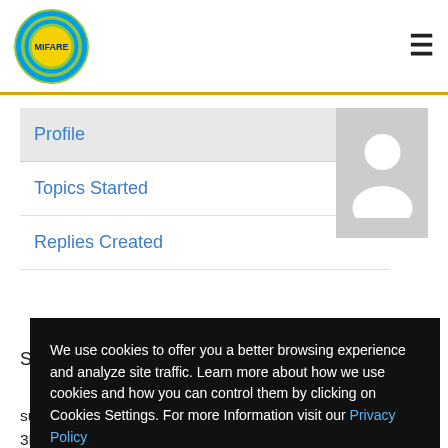MIFARE
Profile
Topics Started
Replies Created
Sniper 3D Diamonds Glitch
We use cookies to offer you a better browsing experience and analyze site traffic. Learn more about how we use cookies and how you can control them by clicking on Cookies Settings. For more Information visit our Privacy Policy
supports all platforms. There are many hacks like Sniper 3D mod apk or online generator. First tool is good but next works
Cookies Settings   Allow All